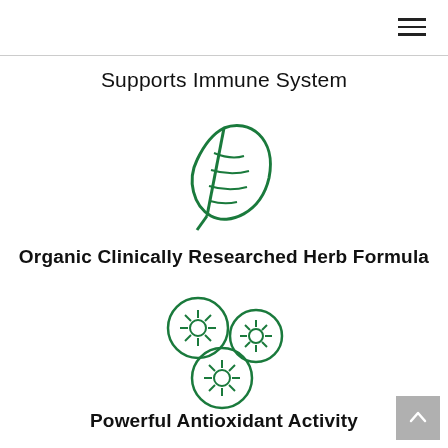[Figure (illustration): Hamburger menu icon (three horizontal lines) in top right corner]
Supports Immune System
[Figure (illustration): Green outline illustration of a leaf with veins]
Organic Clinically Researched Herb Formula
[Figure (illustration): Green outline illustration of three berries (blueberries) with star-like centers]
Powerful Antioxidant Activity
[Figure (illustration): Gray scroll-to-top button with upward arrow in bottom right corner]